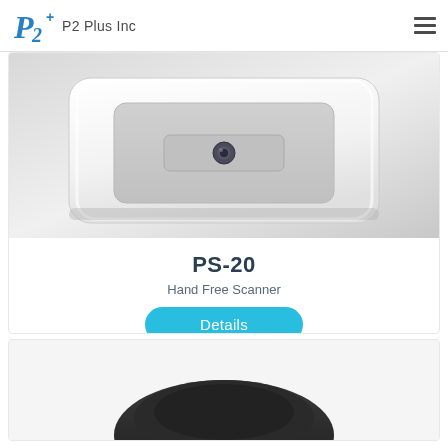P2 Plus Inc
[Figure (photo): White flat-bed hand-free scanner device (PS-20) viewed from above at an angle, showing a rectangular white plastic housing with a recessed scanning area and a small lens/sensor in the center, on a light gray background.]
PS-20
Hand Free Scanner
Details
[Figure (photo): Partial view of a black wearable or handheld scanner device at the bottom of the page, showing a curved dark plastic form.]